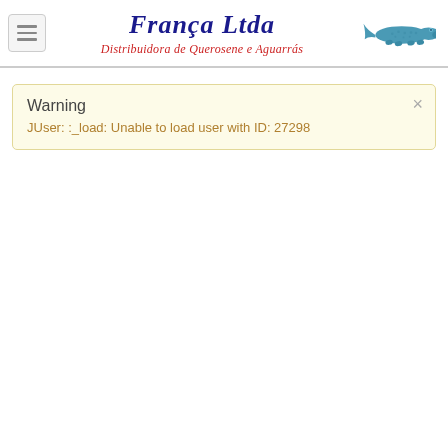[Figure (logo): Menu hamburger button icon on the left, França Ltda brand name in italic dark blue serif font in the center, red italic tagline 'Distribuidora de Querosene e Aguarrás' below, and a blue illustrated crocodile logo on the right]
Warning
JUser: :_load: Unable to load user with ID: 27298